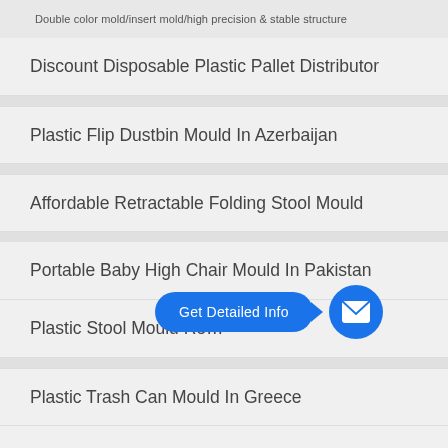Double color mold/insert mold/high precision & stable structure
Discount Disposable Plastic Pallet Distributor
Plastic Flip Dustbin Mould In Azerbaijan
Affordable Retractable Folding Stool Mould
Portable Baby High Chair Mould In Pakistan
Plastic Stool Mould Re…
Plastic Trash Can Mould In Greece
Recycle Rubber Plastic Pallet Nepal
Import Folding Pallet Molding
Hot Sell Plastic Bottle Blow Molding Producer
[Figure (infographic): Blue 'Get Detailed Info' speech bubble button with arrow pointing to a blue circle containing a white envelope/mail icon]